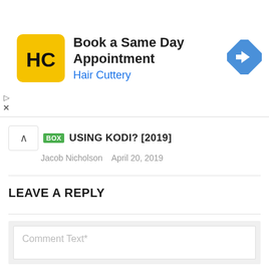[Figure (screenshot): Hair Cuttery advertisement banner with yellow logo showing HC letters, text 'Book a Same Day Appointment' and 'Hair Cuttery', and a blue diamond navigation arrow icon on the right]
USING KODI? [2019]
Jacob Nicholson   April 20, 2019
LEAVE A REPLY
Comment Text*